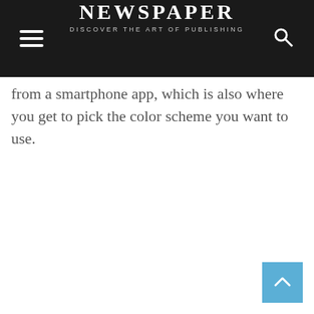NEWSPAPER — DISCOVER THE ART OF PUBLISHING
from a smartphone app, which is also where you get to pick the color scheme you want to use.